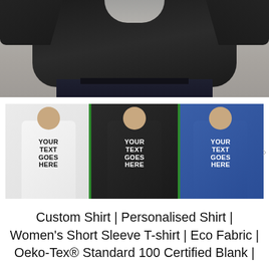[Figure (photo): Top-down view of a person wearing a black t-shirt, lying on a concrete surface, with jeans visible at the bottom]
[Figure (photo): Thumbnail strip showing three women wearing custom t-shirts: white, black (selected with green border), and blue, each with 'YOUR TEXT GOES HERE' text. A right navigation arrow is visible.]
Custom Shirt | Personalised Shirt | Women's Short Sleeve T-shirt | Eco Fabric | Oeko-Tex® Standard 100 Certified Blank |